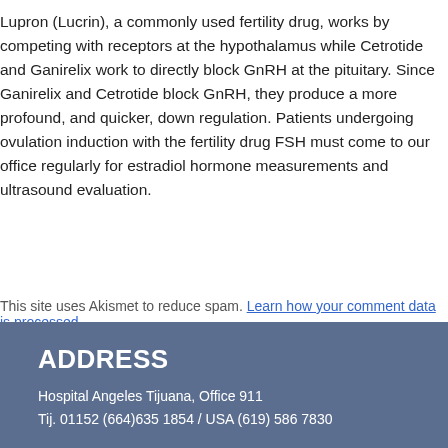Lupron (Lucrin), a commonly used fertility drug, works by competing with receptors at the hypothalamus while Cetrotide and Ganirelix work to directly block GnRH at the pituitary. Since Ganirelix and Cetrotide block GnRH, they produce a more profound, and quicker, down regulation. Patients undergoing ovulation induction with the fertility drug FSH must come to our office regularly for estradiol hormone measurements and ultrasound evaluation.
This site uses Akismet to reduce spam. Learn how your comment data is processed.
ADDRESS
Hospital Angeles Tijuana, Office 911
Tij. 01152 (664)635 1854 / USA (619) 586 7830